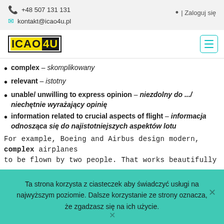+48 507 131 131  kontakt@icao4u.pl  | Zaloguj się
[Figure (logo): ICAO4U logo with yellow ICAO text on black background and black 4U text on yellow background, bordered box]
complex – skomplikowany
relevant – istotny
unable/ unwilling to express opinion – niezdolny do .../ niechętnie wyrażający opinię
information related to crucial aspects of flight – informacja odnosząca się do najistotniejszych aspektów lotu
For example, Boeing and Airbus design modern, complex airplanes to be flown by two people. That works beautifully...
Ta strona korzysta z ciasteczek aby świadczyć usługi na najwyższym poziomie. Dalsze korzystanie ze strony oznacza, że zgadzasz się na ich użycie.